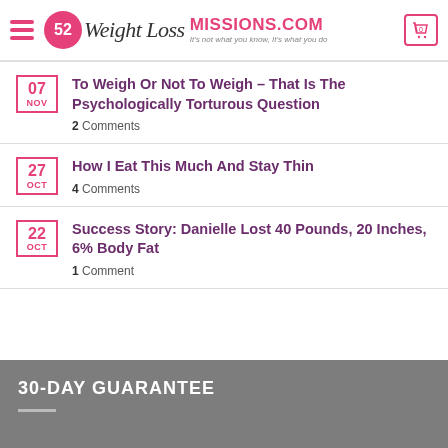52 Weight Loss MISSIONS.COM — It's not what you know, It's what you do
07 NOV — To Weigh Or Not To Weigh – That Is The Psychologically Torturous Question — 2 Comments
27 OCT — How I Eat This Much And Stay Thin — 4 Comments
22 OCT — Success Story: Danielle Lost 40 Pounds, 20 Inches, 6% Body Fat — 1 Comment
30-DAY GUARANTEE